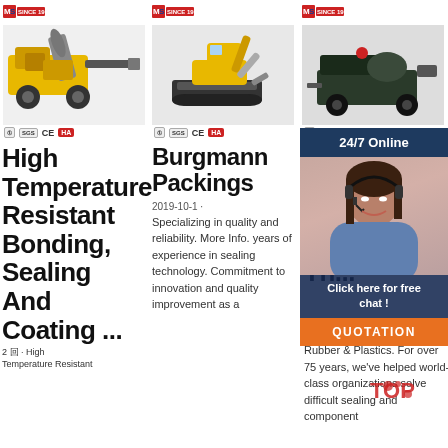[Figure (photo): Logo bar: MLS SINCE 1979, with certification icons]
[Figure (photo): Yellow concrete mixer pump machine on wheels]
[Figure (photo): Logo bar: MLS SINCE 1979]
[Figure (photo): Yellow mini excavator on tracks]
[Figure (photo): Logo bar: MLS SINCE 1979]
[Figure (photo): Construction machine/trailer with equipment]
CE HA certification icons
CE HA certification icons
certification icons
High Temperature Resistant Bonding, Sealing And Coating ...
Burgmann Packings
Ru... M... - C... Th...
2 回 · High Temperature Resistant
2019-10-1 · Specializing in quality and reliability. More Info. years of experience in sealing technology. Commitment to innovation and quality improvement as a
Rubber & Plastics. For over 75 years, we've helped world-class organizations solve difficult sealing and component
[Figure (photo): Customer service representative woman with headset smiling, with 24/7 Online banner, Click here for free chat popup, and QUOTATION button]